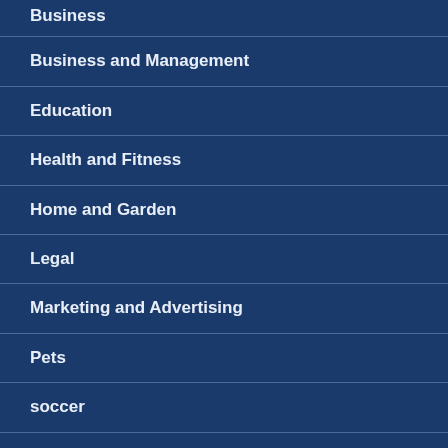Business
Business and Management
Education
Health and Fitness
Home and Garden
Legal
Marketing and Advertising
Pets
soccer
sports
Technology and Gadgets